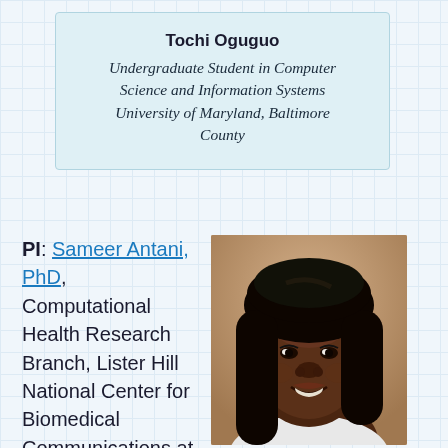Tochi Oguguo
Undergraduate Student in Computer Science and Information Systems University of Maryland, Baltimore County
PI: Sameer Antani, PhD, Computational Health Research Branch, Lister Hill National Center for Biomedical Communications at NLM Research Area: Biomedical Imaging
[Figure (photo): Portrait photo of Tochi Oguguo, a young woman with long dark hair, smiling, wearing a white top, against a beige/tan background.]